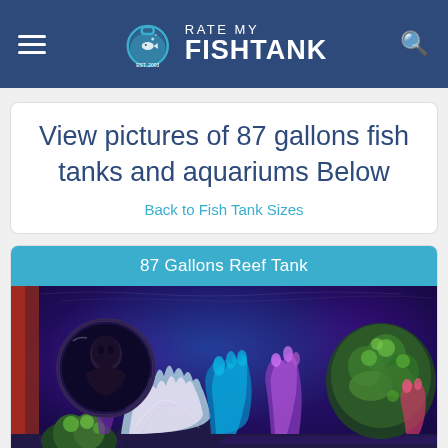Rate My Fishtank — Est. 2003
View pictures of 87 gallons fish tanks and aquariums Below
Back to Fish Tank Sizes
87 Gallons Reef Tank
[Figure (photo): Photo of an 87 gallon reef tank with colorful corals — green, white, purple, and pink corals under blue/purple LED lighting. A circular magnified inset shows a person's reflection in the glass.]